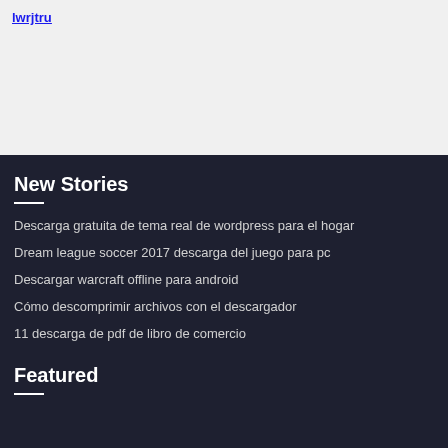lwrjtru
New Stories
Descarga gratuita de tema real de wordpress para el hogar
Dream league soccer 2017 descarga del juego para pc
Descargar warcraft offline para android
Cómo descomprimir archivos con el descargador
11 descarga de pdf de libro de comercio
Featured